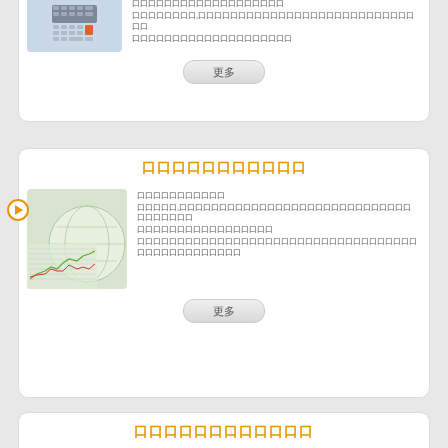[Figure (photo): Calculator image]
口口口口口口口口口口口口口口口口口口口口口口口口口口口口口口口口口口口口口口口口口口口口口口口口口口口口口口口口口口口口口口口口口口口
更多
口口口口口口口口口口口
[Figure (photo): Stock chart with globe]
口口口口口口口口口口口口口口口口口口口口口口口口口口口口口口口口口口口口口口口口口口口口口口口口口口口口口口口口口口口口口口口口口口口口口口口口口口口口口口口口口口口口口口口口口口口口口口口口口口口口口口口口口口口口口口口口口口口口口口口口口口口口口口
更多
口口口口口口口口口口口口
[Figure (photo): Stairs/steps image]
口口口口口口口口口口口口口口口口口口口口口, 口口口口口口口口口口口口 ,口口口口,口口口口口口口口口口口口口口口口口口口口, 口口口口口口口口口口,